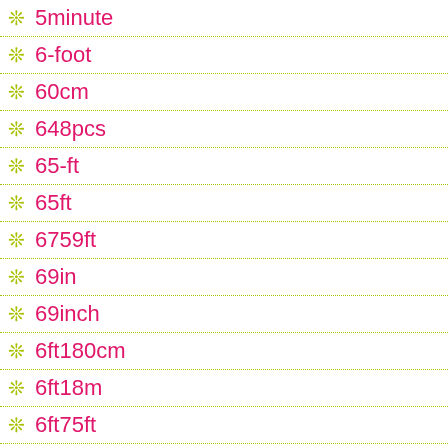5minute
6-foot
60cm
648pcs
65-ft
65ft
6759ft
69in
69inch
6ft180cm
6ft18m
6ft75ft
6ft75ft9ft
7-12